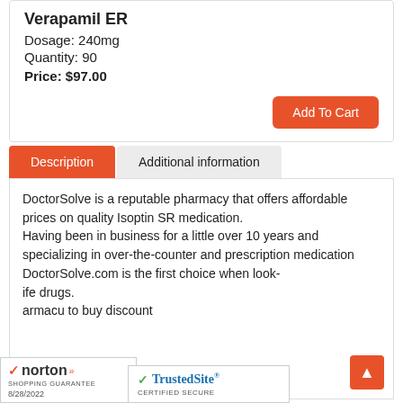Verapamil ER
Dosage: 240mg
Quantity: 90
Price: $97.00
Add To Cart
Description
Additional information
DoctorSolve is a reputable pharmacy that offers affordable prices on quality Isoptin SR medication.
Having been in business for a little over 10 years and specializing in over-the-counter and prescription medication
DoctorSolve.com is the first choice when look-ife drugs.
armacu to buy discount